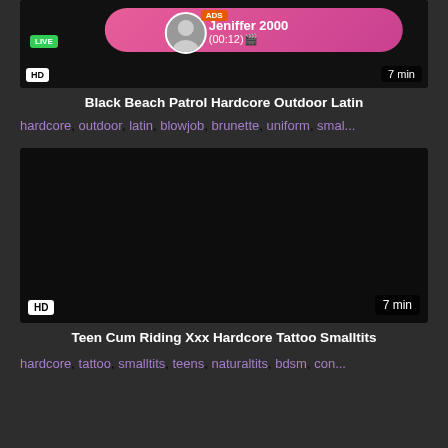[Figure (screenshot): Video thumbnail (dark/black) with an ad overlay bubble showing 'ADS Jeniffer 2000 (00:12)' with a live avatar, HD badge and 7 min duration label]
Black Beach Patrol Hardcore Outdoor Latin
hardcore, outdoor, latin, blowjob, brunette, uniform, smal...
[Figure (screenshot): Dark/black video thumbnail with HD badge (bottom-left) and 7 min duration label (bottom-right)]
Teen Cum Riding Xxx Hardcore Tattoo Smalltits
hardcore, tattoo, smalltits, teens, naturaltits, bdsm, con...